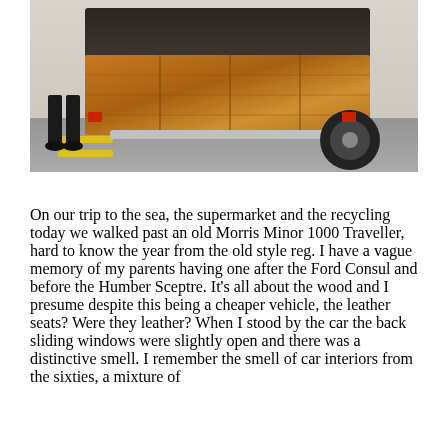[Figure (photo): Rear view of a classic Morris Minor 1000 Traveller with wood paneling and a distinctive rear wheel, photographed on a road. Legs of a person visible on the left side.]
On our trip to the sea, the supermarket and the recycling today we walked past an old Morris Minor 1000 Traveller, hard to know the year from the old style reg. I have a vague memory of my parents having one after the Ford Consul and before the Humber Sceptre. It's all about the wood and I presume despite this being a cheaper vehicle, the leather seats? Were they leather? When I stood by the car the back sliding windows were slightly open and there was a distinctive smell. I remember the smell of car interiors from the sixties, a mixture of